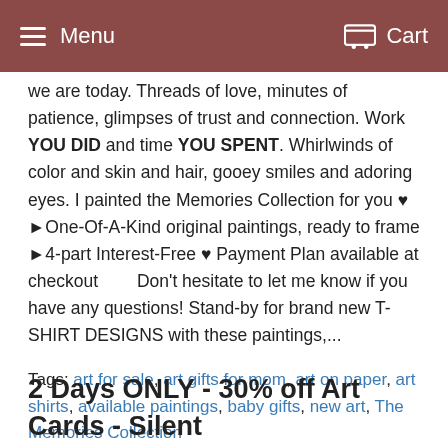Menu  Cart
we are today. Threads of love, minutes of patience, glimpses of trust and connection. Work YOU DID and time YOU SPENT. Whirlwinds of color and skin and hair, gooey smiles and adoring eyes. I painted the Memories Collection for you ♥ ►One-Of-A-Kind original paintings, ready to frame ►4-part Interest-Free ♥ Payment Plan available at checkout        Don't hesitate to let me know if you have any questions! Stand-by for brand new T-SHIRT DESIGNS with these paintings,...
Tags: art for sale, art gifts for mom, art on paper, art shirts, available paintings, baby gifts, new art, The Memories Collection
Read more →
2 Days ONLY - 30% off Art Cards - Silent